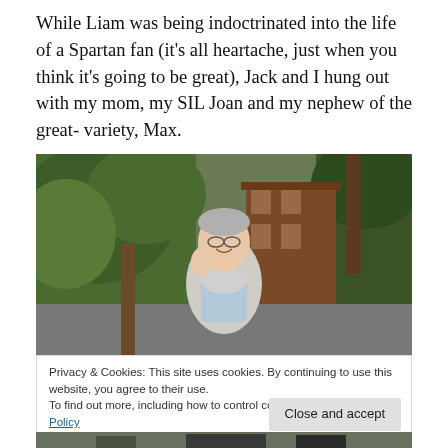While Liam was being indoctrinated into the life of a Spartan fan (it’s all heartache, just when you think it’s going to be great), Jack and I hung out with my mom, my SIL Joan and my nephew of the great- variety, Max.
[Figure (photo): An older woman with gray hair and glasses, smiling and leaning forward outdoors, with green trees and a brown building in the background.]
Privacy & Cookies: This site uses cookies. By continuing to use this website, you agree to their use.
To find out more, including how to control cookies, see here: Cookie Policy
[Figure (photo): Partial bottom photo showing people outdoors, cropped.]